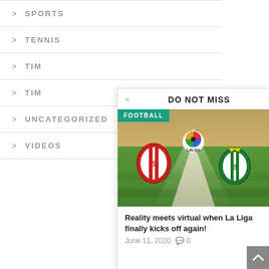> SPORTS
> TENNIS
> TIM
> TIM
> UNCATEGORIZED
> VIDEOS
DO NOT MISS
[Figure (photo): Football field with Sevilla FC and Real Betis crests facing each other, LaLiga logo above, with FOOTBALL category tag overlay]
Reality meets virtual when La Liga finally kicks off again!
June 11, 2020  0